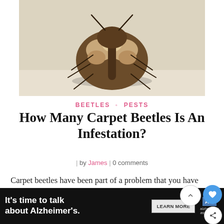[Figure (photo): Close-up photo of a carpet beetle on a light-colored surface, viewed from above. The beetle has a rounded, mottled brown and white patterned shell with small legs visible underneath.]
BEETLES · PESTS
How Many Carpet Beetles Is An Infestation?
| by James | 0 comments
Carpet beetles have been part of a problem that you have to eradicate in your home. This pest is one of the most common in summer times, and they tend to stay in your home and create infestations. You
It's time to talk about Alzheimer's.  LEARN MORE  alzheimer's association  ×